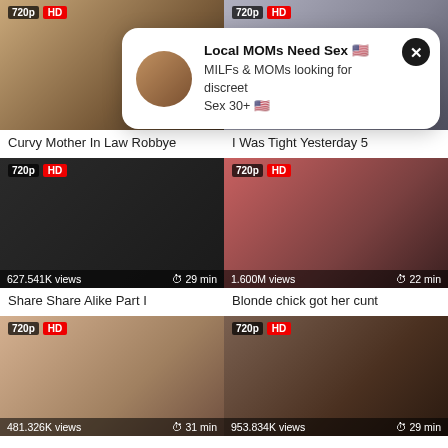[Figure (screenshot): Video thumbnail top-left showing woman, 720p HD badge, no view count visible (covered by popup)]
[Figure (screenshot): Video thumbnail top-right showing people, 720p HD badge, no view count visible (covered by popup)]
[Figure (screenshot): Popup advertisement overlay: 'Local MOMs Need Sex MILFs & MOMs looking for discreet Sex 30+']
Curvy Mother In Law Robbye
I Was Tight Yesterday 5
[Figure (screenshot): Video thumbnail mid-left, dark hair woman, 720p HD badge, 627.541K views, 29 min]
[Figure (screenshot): Video thumbnail mid-right, blonde woman and man, 720p HD badge, 1.600M views, 22 min]
Share Share Alike Part I
Blonde chick got her cunt
[Figure (screenshot): Video thumbnail bottom-left, young woman lying down, 720p HD badge, 481.326K views, 31 min]
[Figure (screenshot): Video thumbnail bottom-right, dark scene, 720p HD badge, 953.834K views, 29 min]